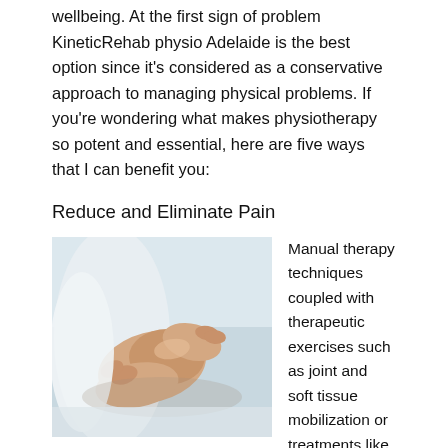wellbeing. At the first sign of problem KineticRehab physio Adelaide is the best option since it's considered as a conservative approach to managing physical problems. If you're wondering what makes physiotherapy so potent and essential, here are five ways that I can benefit you:
Reduce and Eliminate Pain
[Figure (photo): Physiotherapist hands treating a patient's elbow/arm joint]
Manual therapy techniques coupled with therapeutic exercises such as joint and soft tissue mobilization or treatments like ultrasound, electrical stimulation or taping can help relieve the pain that you feel. At the same time, it can restore muscle and joint